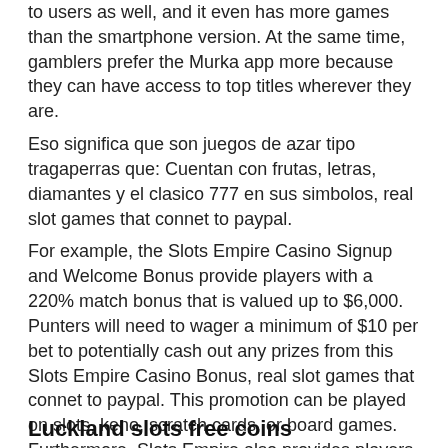to users as well, and it even has more games than the smartphone version. At the same time, gamblers prefer the Murka app more because they can have access to top titles wherever they are.
Eso significa que son juegos de azar tipo tragaperras que: Cuentan con frutas, letras, diamantes y el clasico 777 en sus simbolos, real slot games that connet to paypal.
For example, the Slots Empire Casino Signup and Welcome Bonus provide players with a 220% match bonus that is valued up to $6,000. Punters will need to wager a minimum of $10 per bet to potentially cash out any prizes from this Slots Empire Casino Bonus, real slot games that connet to paypal. This promotion can be played on slots, keno, scratch cards, or board games. Furthermore, Slots Empire also provides players with 20% cashback if they use Bitcoins or Neosurf to deposit at the casino.
Luckland slots free coins